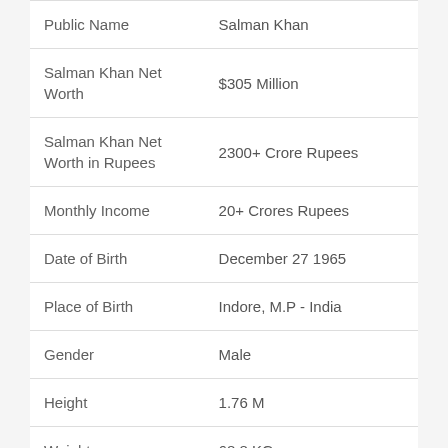| Field | Value |
| --- | --- |
| Public Name | Salman Khan |
| Salman Khan Net Worth | $305 Million |
| Salman Khan Net Worth in Rupees | 2300+ Crore Rupees |
| Monthly Income | 20+ Crores Rupees |
| Date of Birth | December 27 1965 |
| Place of Birth | Indore, M.P - India |
| Gender | Male |
| Height | 1.76 M |
| Weight | 68.8 KG |
| Profession | Actor, Producer, TV |